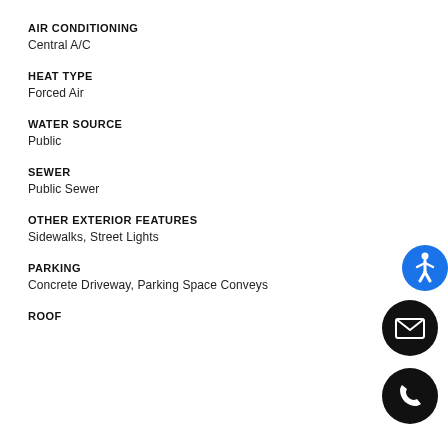AIR CONDITIONING
Central A/C
HEAT TYPE
Forced Air
WATER SOURCE
Public
SEWER
Public Sewer
OTHER EXTERIOR FEATURES
Sidewalks, Street Lights
PARKING
Concrete Driveway, Parking Space Conveys
ROOF
[Figure (infographic): Blue circle accessibility icon with white wheelchair symbol]
[Figure (infographic): Black circle mail/envelope icon with white envelope symbol]
[Figure (infographic): Black circle phone icon with white phone handset symbol]